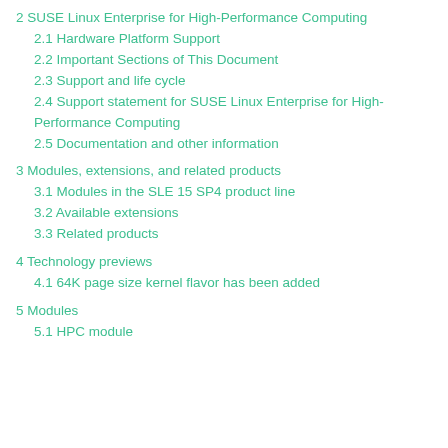2 SUSE Linux Enterprise for High-Performance Computing
2.1 Hardware Platform Support
2.2 Important Sections of This Document
2.3 Support and life cycle
2.4 Support statement for SUSE Linux Enterprise for High-Performance Computing
2.5 Documentation and other information
3 Modules, extensions, and related products
3.1 Modules in the SLE 15 SP4 product line
3.2 Available extensions
3.3 Related products
4 Technology previews
4.1 64K page size kernel flavor has been added
5 Modules
5.1 HPC module